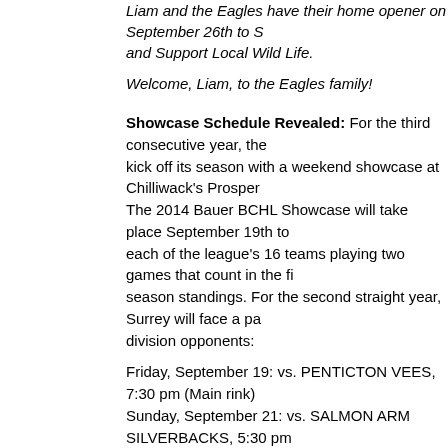Liam and the Eagles have their home opener on September 26th to ... and Support Local Wild Life.
Welcome, Liam, to the Eagles family!
Showcase Schedule Revealed: For the third consecutive year, the ... kick off its season with a weekend showcase at Chilliwack’s Prosper... The 2014 Bauer BCHL Showcase will take place September 19th to ... each of the league’s 16 teams playing two games that count in the f... season standings. For the second straight year, Surrey will face a p... division opponents:
Friday, September 19: vs. PENTICTON VEES, 7:30 pm (Main rink)
Sunday, September 21: vs. SALMON ARM SILVERBACKS, 5:30 pm ... rink)
The full BCHL schedule should be released soon, with the traditiona... season schedule set to get underway on Friday, September 26th.
Posted by Chris Wahl at 4:33 PM   No comments:
Thursday, June 12, 2014